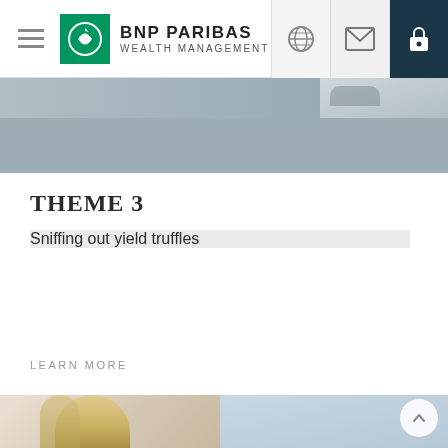[Figure (screenshot): BNP Paribas Wealth Management website navigation bar with hamburger menu, green logo, brand name, and icon buttons for globe, mail, and lock]
[Figure (photo): Partial hero image showing a person's eyes and gray/neutral toned background]
THEME 3
Sniffing out yield truffles
LEARN MORE
[Figure (photo): Bottom row showing partial photos: left shows a blonde person from behind, right shows a light blue toned image with a circular scroll-up arrow button]